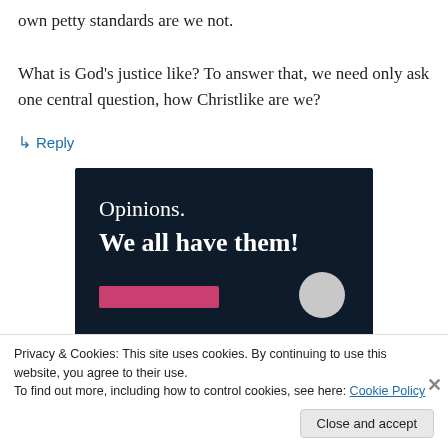own petty standards are we not. What is God's justice like? To answer that, we need only ask one central question, how Christlike are we?
↳ Reply
[Figure (illustration): Dark navy advertisement banner with text 'Opinions.' and bold 'We all have them!' on white, with a pink button bar and a grey circle at bottom right.]
Privacy & Cookies: This site uses cookies. By continuing to use this website, you agree to their use.
To find out more, including how to control cookies, see here: Cookie Policy
Close and accept